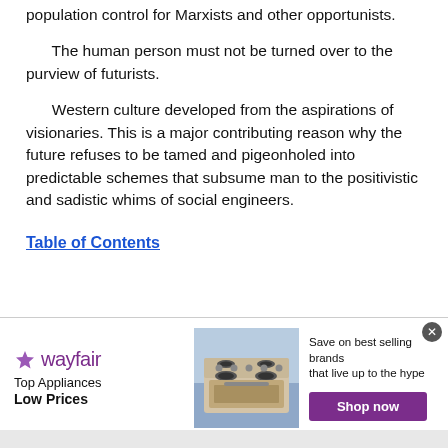population control for Marxists and other opportunists.
The human person must not be turned over to the purview of futurists.
Western culture developed from the aspirations of visionaries. This is a major contributing reason why the future refuses to be tamed and pigeonholed into predictable schemes that subsume man to the positivistic and sadistic whims of social engineers.
Table of Contents
[Figure (infographic): Wayfair advertisement banner: Top Appliances Low Prices, with stove image, Save on best selling brands that live up to the hype, Shop now button]